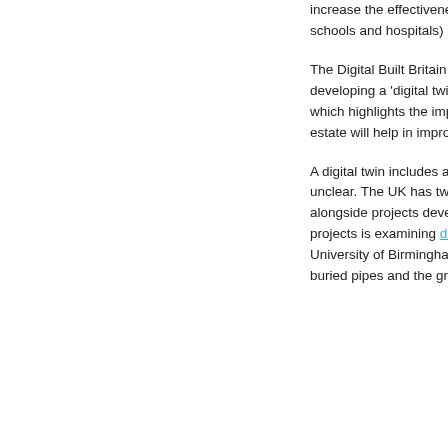increase the effectiveness of our infrastructure (transport and energy networks, housing, schools and hospitals) by improving the way it is designed, built and operated.
The Digital Built Britain report sets out the plan to develop the UK's BIM journey by developing a 'digital twin' of existing assets which add less than 0.5% each year of new build, which highlights the importance of managing existing assets. It is expected that this real-world estate will help in improving whole-life lifecycle performance and efficiency.
A digital twin includes a number of aspects and dimensions of a digital twin is currently unclear. The UK has two research projects exploring the use of a national digital twin, alongside projects developing technology to detect assets without excavation. One of these projects is examining direct, indirect and social costs of disruption by researchers at the University of Birmingham – Assessing the Underworld, which is assessing the condition of buried pipes and the ground in which they are buried.